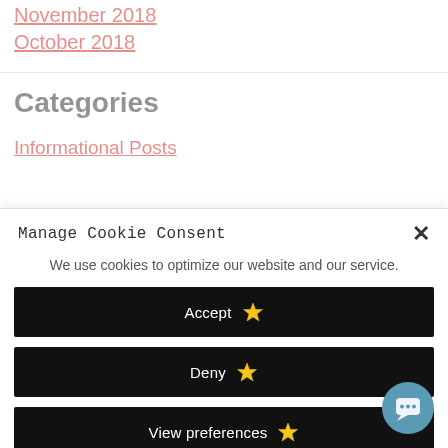November 2018
October 2018
Categories
Informational Posts
Manage Cookie Consent
We use cookies to optimize our website and our service.
Accept ★
Deny ★
View preferences ★